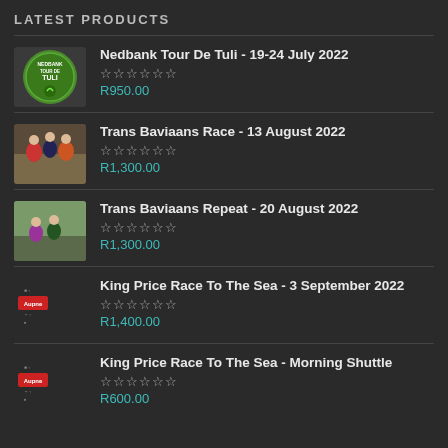LATEST PRODUCTS
Nedbank Tour De Tuli - 19-24 July 2022
☆☆☆☆☆☆
R950.00
Trans Baviaans Race - 13 August 2022
☆☆☆☆☆☆
R1,300.00
Trans Baviaans Repeat - 20 August 2022
☆☆☆☆☆☆
R1,300.00
King Price Race To The Sea - 3 September 2022
☆☆☆☆☆☆
R1,400.00
King Price Race To The Sea - Morning Shuttle
☆☆☆☆☆☆
R600.00